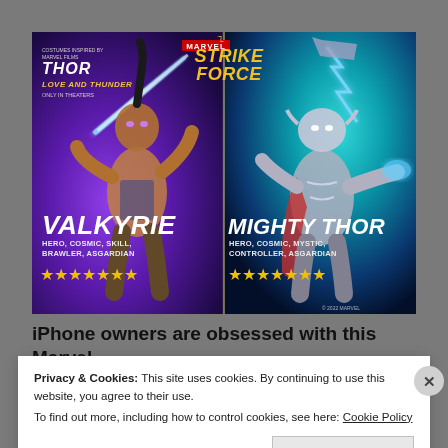[Figure (illustration): Marvel Strike Force promotional image featuring Valkyrie (left, Hero, Cosmic, Skill, Brawler, Asgardian, 7 stars) and Mighty Thor (right, Hero, Cosmic, Mystic, Controller, Asgardian, 7 stars). Top left shows Thor: Love and Thunder movie logo. Top center shows Marvel Strike Force game logo. Costumes inspired by Marvel film Thor: Love and Thunder, Only in Theaters. Copyright 2022 Marvel.]
iPhone owners are obsessed with this Marvel
Privacy & Cookies: This site uses cookies. By continuing to use this website, you agree to their use.
To find out more, including how to control cookies, see here: Cookie Policy
Close and accept